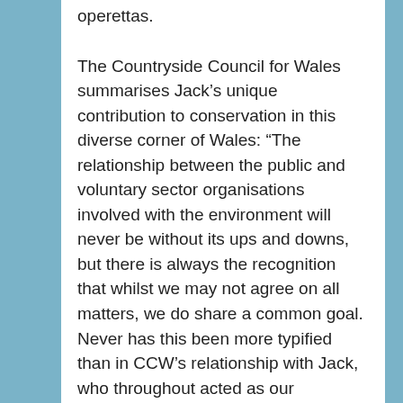operettas.
The Countryside Council for Wales summarises Jack's unique contribution to conservation in this diverse corner of Wales: “The relationship between the public and voluntary sector organisations involved with the environment will never be without its ups and downs, but there is always the recognition that whilst we may not agree on all matters, we do share a common goal. Never has this been more typified than in CCW’s relationship with Jack, who throughout acted as our conscience and critical friend. With his inimitable charm, his incisive wit and uncanny sense of timing, his words made any challenge a pleasure to receive.
We are all indebted to him for his support and contribution to conservation in West Wales over so